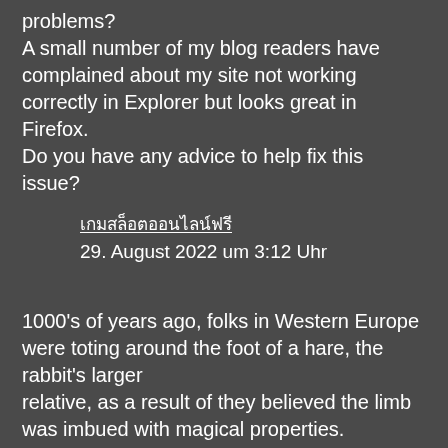problems? A small number of my blog readers have complained about my site not working correctly in Explorer but looks great in Firefox. Do you have any advice to help fix this issue?
เกมสล็อตออนไลน์ฟรี
29. August 2022 um 3:12 Uhr
1000's of years ago, folks in Western Europe were toting around the foot of a hare, the rabbit's larger relative, as a result of they believed the limb was imbued with magical properties. Thousands of sweat glands on the soles of the ft produce